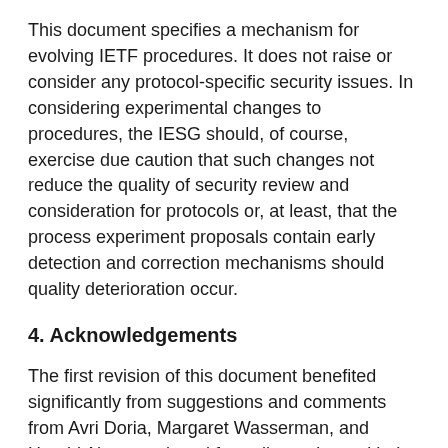This document specifies a mechanism for evolving IETF procedures. It does not raise or consider any protocol-specific security issues. In considering experimental changes to procedures, the IESG should, of course, exercise due caution that such changes not reduce the quality of security review and consideration for protocols or, at least, that the process experiment proposals contain early detection and correction mechanisms should quality deterioration occur.
4. Acknowledgements
The first revision of this document benefited significantly from suggestions and comments from Avri Doria, Margaret Wasserman, and Harald Alvestrand, and from discussions with the General Area Directorate and at its open meeting during IETF 59. After mailing list discussion, considerable explanatory material was removed to a separate document for the current version.
The first version of this document was...